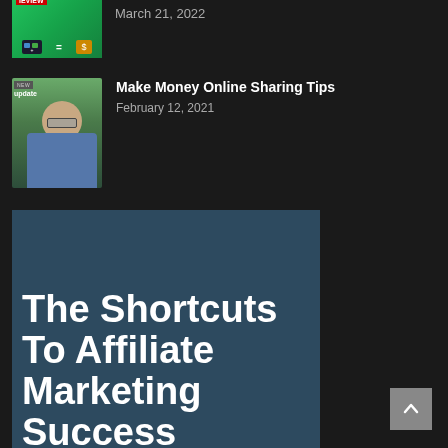March 21, 2022
Make Money Online Sharing Tips
February 12, 2021
[Figure (illustration): Dark blue promotional card showing large bold white text: The Shortcuts To Affiliate Marketing Success]
[Figure (illustration): Scroll-to-top arrow button in gray, bottom right corner]